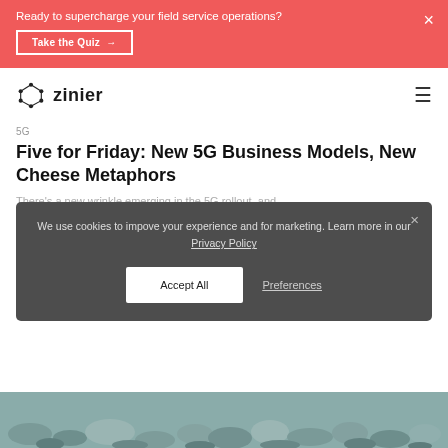Ready to supercharge your field service operations? Take the Quiz ×
zinier ≡
5G
Five for Friday: New 5G Business Models, New Cheese Metaphors
There's a new wrinkle emerging in the 5G rollout, and
We use cookies to impove your experience and for marketing. Learn more in our Privacy Policy
Accept All   Preferences
[Figure (photo): Pebbles/stones image strip at bottom of page]